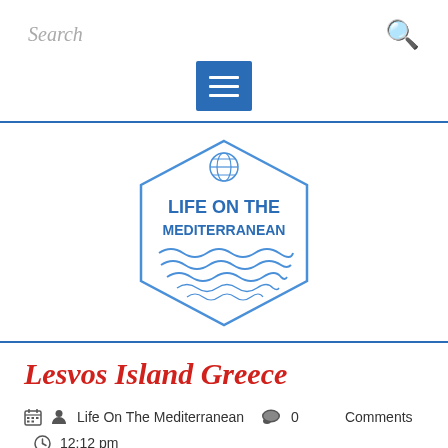Search
[Figure (logo): Life On The Mediterranean hexagon logo with waves and globe icon]
Lesvos Island Greece
Life On The Mediterranean  0 Comments  12:12 pm